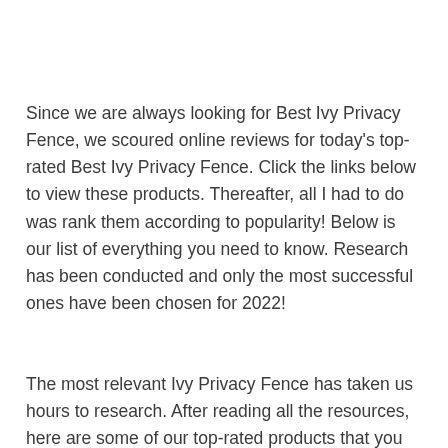Since we are always looking for Best Ivy Privacy Fence, we scoured online reviews for today's top-rated Best Ivy Privacy Fence. Click the links below to view these products. Thereafter, all I had to do was rank them according to popularity! Below is our list of everything you need to know. Research has been conducted and only the most successful ones have been chosen for 2022!
The most relevant Ivy Privacy Fence has taken us hours to research. After reading all the resources, here are some of our top-rated products that you can learn more about as well as where they are heading with their newest products.